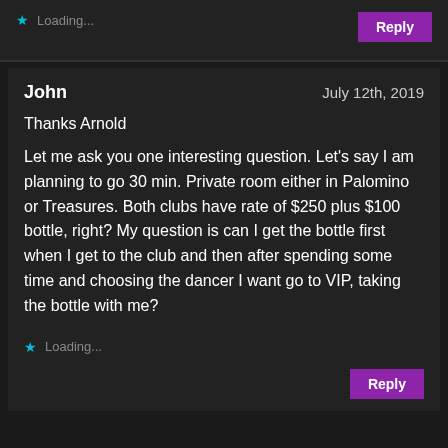Loading...
Reply
John
July 12th, 2019
Thanks Arnold
Let me ask you one interesting question. Let's say I am planning to go 30 min. Private room either in Palomino or Treasures. Both clubs have rate of $250 plus $100 bottle, right? My question is can I get the bottle first when I get to the club and then after spending some time and choosing the dancer I want go to VIP, taking the bottle with me?
Loading...
Reply